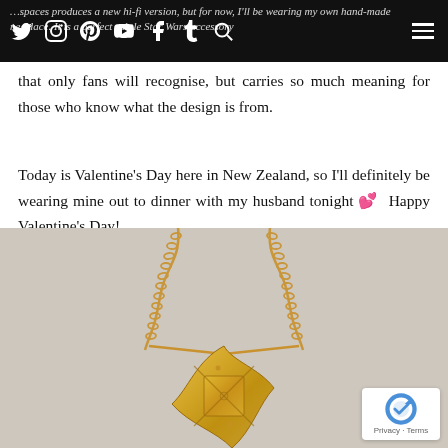Navigation bar with social media icons: Twitter, Instagram, Pinterest, YouTube, Facebook, Tumblr, Search, and Hamburger menu
...spaces produces a new hi-fi version, but for now, I'll be wearing my own hand-made necklace. It is a perfect subtle Star Wars accessory that only fans will recognise, but carries so much meaning for those who know what the design is from.
Today is Valentine's Day here in New Zealand, so I'll definitely be wearing mine out to dinner with my husband tonight 💕  Happy Valentine's Day!
[Figure (photo): Gold Star Wars inspired necklace with chain on a light grey/beige textured background. The pendant is a gold geometric star-shaped design with engraved details.]
Privacy · Terms